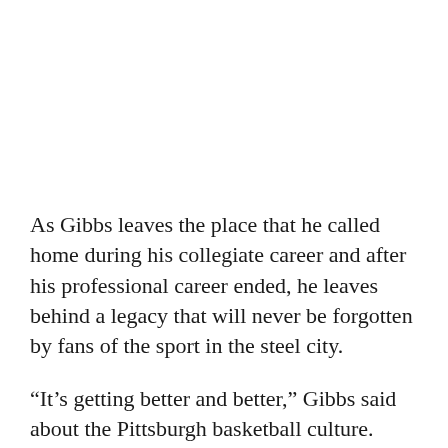As Gibbs leaves the place that he called home during his collegiate career and after his professional career ended, he leaves behind a legacy that will never be forgotten by fans of the sport in the steel city.
“It’s getting better and better,” Gibbs said about the Pittsburgh basketball culture. “...Overall, I think the city is embracing basketball more and